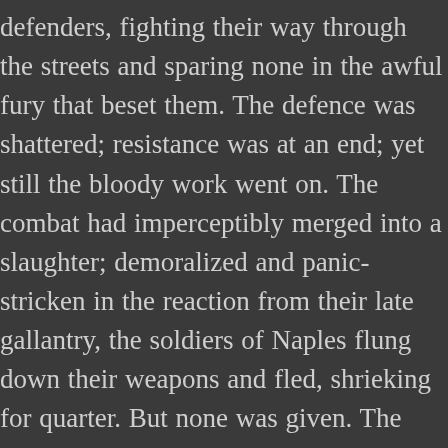defenders, fighting their way through the streets and sparing none in the awful fury that beset them. The defence was shattered; resistance was at an end; yet still the bloody work went on. The combat had imperceptibly merged into a slaughter; demoralized and panic-stricken in the reaction from their late gallantry, the soldiers of Naples flung down their weapons and fled, shrieking for quarter. But none was given. The invader butchered every human thing he came upon, indiscriminant of age or sex, and the blood of some four thousand victims flowed through the streets of Capua like water after a thundershower. That sack of Capua is one of the most horrid pages in the horrid history of sacks. You will find full details in d'Auton's chronicle, if you have a mind for